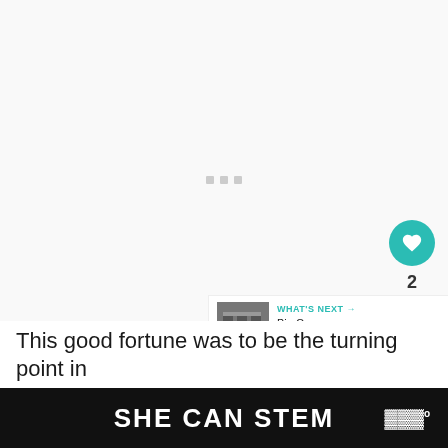[Figure (screenshot): Loading placeholder area with three small grey squares centered, representing a loading/buffering video or image content area. Light grey background.]
[Figure (screenshot): UI sidebar with teal heart/like button, count of 2, and a white share button with plus icon.]
[Figure (screenshot): What's Next bar showing a thumbnail of a building and text 'Big Cypress Loop Road:...' with teal label 'WHAT'S NEXT →']
This good fortune was to be the turning point in
SHE CAN STEM